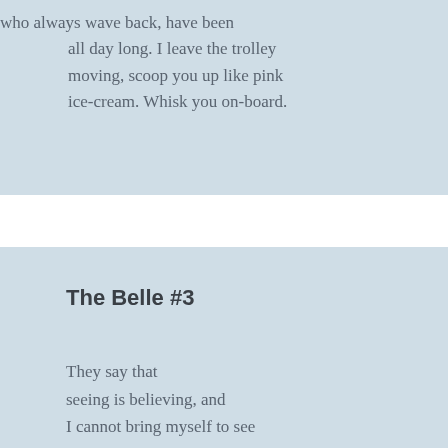who always wave back, have been
    all day long. I leave the trolley
    moving, scoop you up like pink
    ice-cream. Whisk you on-board.
The Belle #3
They say that
seeing is believing, and
I cannot bring myself to see
God. There should be a law